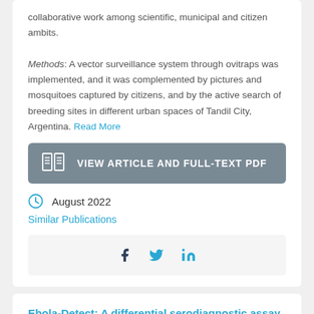collaborative work among scientific, municipal and citizen ambits.

Methods: A vector surveillance system through ovitraps was implemented, and it was complemented by pictures and mosquitoes captured by citizens, and by the active search of breeding sites in different urban spaces of Tandil City, Argentina. Read More
VIEW ARTICLE AND FULL-TEXT PDF
August 2022
Similar Publications
[Figure (other): Social share bar with Facebook, Twitter, and LinkedIn icons]
Ebola-Detect: A differential serodiagnostic assay for Ebola virus infections and surveillance in the